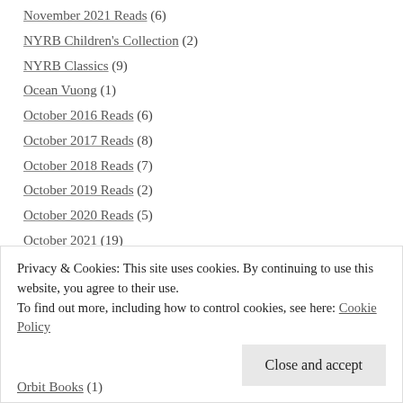November 2021 Reads (6)
NYRB Children's Collection (2)
NYRB Classics (9)
Ocean Vuong (1)
October 2016 Reads (6)
October 2017 Reads (8)
October 2018 Reads (7)
October 2019 Reads (2)
October 2020 Reads (5)
October 2021 (19)
October 2021 Reads (20)
Oliver Jeffers (4)
oliver sacks (1)
Privacy & Cookies: This site uses cookies. By continuing to use this website, you agree to their use. To find out more, including how to control cookies, see here: Cookie Policy
Orbit Books (1)